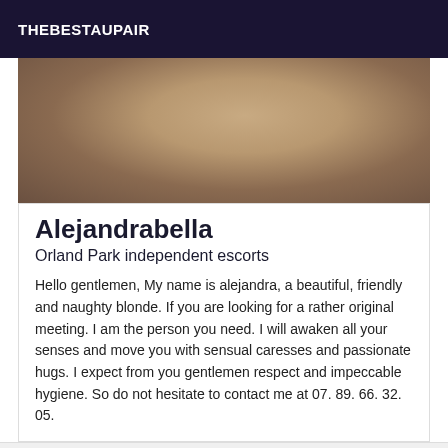THEBESTAUPAIR
[Figure (photo): Photo of a person crouched on a light-colored stone surface, partial view showing legs and feet]
Alejandrabella
Orland Park independent escorts
Hello gentlemen, My name is alejandra, a beautiful, friendly and naughty blonde. If you are looking for a rather original meeting. I am the person you need. I will awaken all your senses and move you with sensual caresses and passionate hugs. I expect from you gentlemen respect and impeccable hygiene. So do not hesitate to contact me at 07. 89. 66. 32. 05.
[Figure (photo): Partial photo at bottom of page showing what appears to be printed materials or cards on a surface]